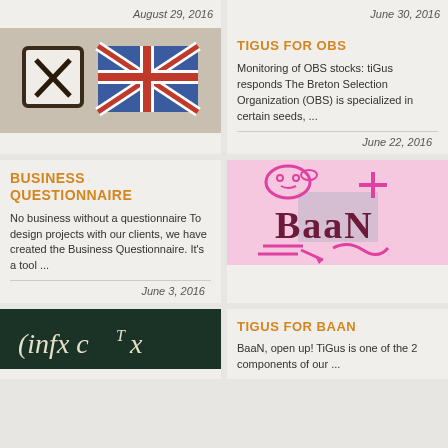August 29, 2016
June 30, 2016
[Figure (illustration): Brexit-themed illustration: checkbox with X mark and UK Union Jack flag on grey background]
BUSINESS QUESTIONNAIRE
No business without a questionnaire To design projects with our clients, we have created the Business Questionnaire. It's a tool ...
June 3, 2016
TIGUS FOR OBS
Monitoring of OBS stocks: tiGus responds The Breton Selection Organization (OBS) is specialized in certain seeds, ...
June 22, 2016
[Figure (logo): BaaN logo with pink hand-drawn doodles on pink background]
[Figure (illustration): Dark green background with mathematical formula text: (infx c^T x]
TIGUS FOR BAAN
BaaN, open up! TiGus is one of the 2 components of our ...